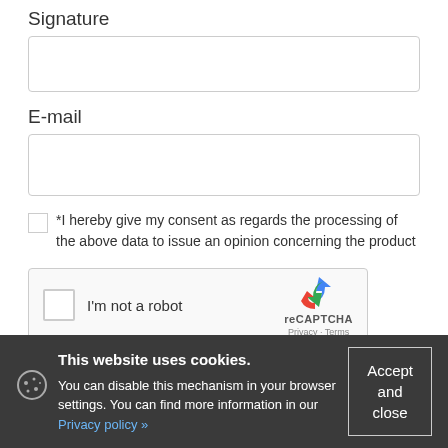Signature
[Figure (screenshot): Empty input box for Signature field]
E-mail
[Figure (screenshot): Empty input box for E-mail field]
*I hereby give my consent as regards the processing of the above data to issue an opinion concerning the product
[Figure (screenshot): reCAPTCHA widget with checkbox labeled 'I'm not a robot' and reCAPTCHA logo with Privacy and Terms links]
Add new opinion
This website uses cookies. You can disable this mechanism in your browser settings. You can find more information in our Privacy policy ».